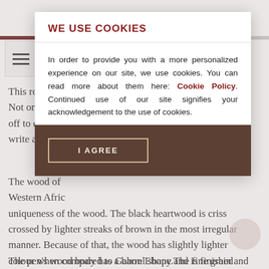DESCRIPTION
This rollerball ... nd! Not only will y... off to everyon... d write away!
The wood of ... Western Afric... uniqueness of the wood. The black heartwood is criss crossed by lighter streaks of brown in the most irregular manner. Because of that, the wood has slightly lighter colour when compared to Gabon Ebony.The fine grain and smooth finish translate to a beautiful feel in the hand.
The pen's wood body has a barrel shape and is finished
WE USE COOKIES
In order to provide you with a more personalized experience on our site, we use cookies. You can read more about them here: Cookie Policy. Continued use of our site signifies your acknowledgement to the use of cookies.
I AGREE